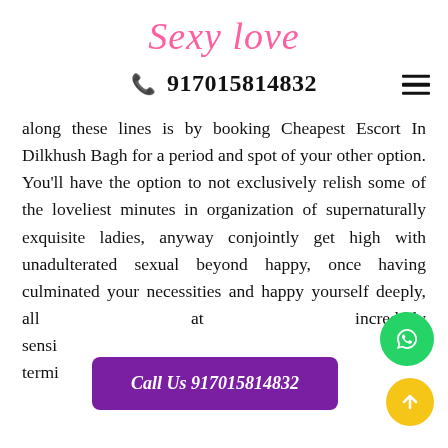Sexy love
📞 917015814832
along these lines is by booking Cheapest Escort In Dilkhush Bagh for a period and spot of your other option. You'll have the option to not exclusively relish some of the loveliest minutes in organization of supernaturally exquisite ladies, anyway conjointly get high with unadulterated sexual beyond happy, once having culminated your necessities and happy yourself deeply, all at incredibly sensible rates. In this way, book a long termi...
Call Us 917015814832